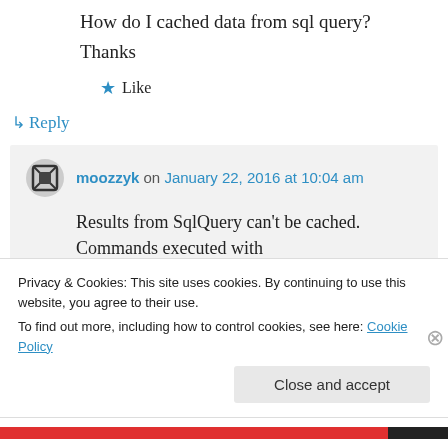How do I cached data from sql query?
Thanks
★ Like
↳ Reply
moozzyk on January 22, 2016 at 10:04 am
Results from SqlQuery can't be cached. Commands executed with ExecuteSqlCommand will not invalidate
Privacy & Cookies: This site uses cookies. By continuing to use this website, you agree to their use.
To find out more, including how to control cookies, see here: Cookie Policy
Close and accept